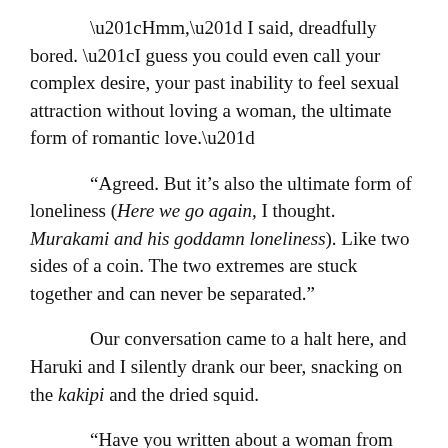“Hmm,” I said, dreadfully bored. “I guess you could even call your complex desire, your past inability to feel sexual attraction without loving a woman, the ultimate form of romantic love.”
“Agreed. But it’s also the ultimate form of loneliness (Here we go again, I thought. Murakami and his goddamn loneliness). Like two sides of a coin. The two extremes are stuck together and can never be separated.”
Our conversation came to a halt here, and Haruki and I silently drank our beer, snacking on the kakipi and the dried squid.
“Have you written about a woman from your past recently?” I asked.
Haruki shook his head. He grabbed some hair on his